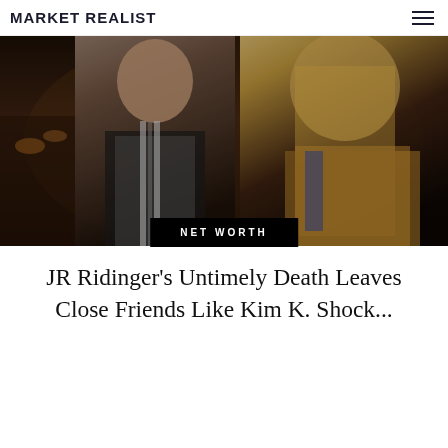MARKET REALIST
[Figure (photo): Two people at a formal event — a man in a black vest with a white shirt and striped scarf, and a woman in a gold and black embellished outfit with long blonde hair. Candles and table settings visible in background.]
NET WORTH
JR Ridinger's Untimely Death Leaves Close Friends Like Kim K. Shock...